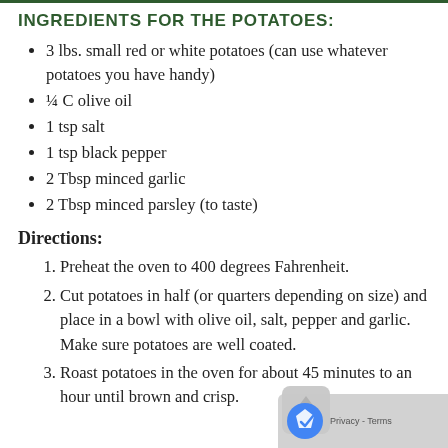INGREDIENTS FOR THE POTATOES:
3 lbs. small red or white potatoes (can use whatever potatoes you have handy)
¼ C olive oil
1 tsp salt
1 tsp black pepper
2 Tbsp minced garlic
2 Tbsp minced parsley (to taste)
Directions:
Preheat the oven to 400 degrees Fahrenheit.
Cut potatoes in half (or quarters depending on size) and place in a bowl with olive oil, salt, pepper and garlic. Make sure potatoes are well coated.
Roast potatoes in the oven for about 45 minutes to an hour until brown and crisp.